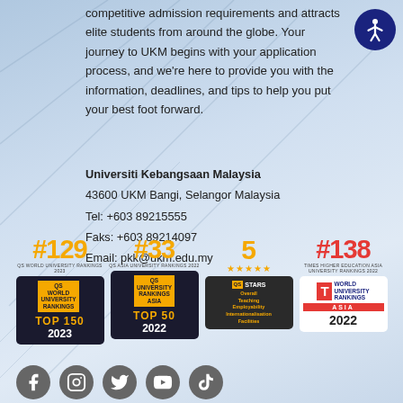competitive admission requirements and attracts elite students from around the globe. Your journey to UKM begins with your application process, and we're here to provide you with the information, deadlines, and tips to help you put your best foot forward.
Universiti Kebangsaan Malaysia
43600 UKM Bangi, Selangor Malaysia
Tel: +603 89215555
Faks: +603 89214097
Email: pkk@ukm.edu.my
[Figure (infographic): Four ranking badges: QS World University Rankings #129 TOP 150 2023, QS University Rankings Asia #33 TOP 50 2022, QS Stars 5 stars Overall Teaching Employability Internationalisation Facilities, THE World University Rankings Asia #138 2022]
[Figure (infographic): Social media icons row: Facebook, Instagram, Twitter, YouTube, TikTok]